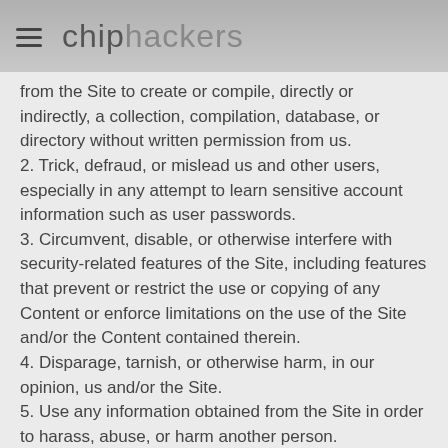chiphackers
from the Site to create or compile, directly or indirectly, a collection, compilation, database, or directory without written permission from us.
2. Trick, defraud, or mislead us and other users, especially in any attempt to learn sensitive account information such as user passwords.
3. Circumvent, disable, or otherwise interfere with security-related features of the Site, including features that prevent or restrict the use or copying of any Content or enforce limitations on the use of the Site and/or the Content contained therein.
4. Disparage, tarnish, or otherwise harm, in our opinion, us and/or the Site.
5. Use any information obtained from the Site in order to harass, abuse, or harm another person.
6. Make improper use of our support services or submit false reports of abuse or misconduct.